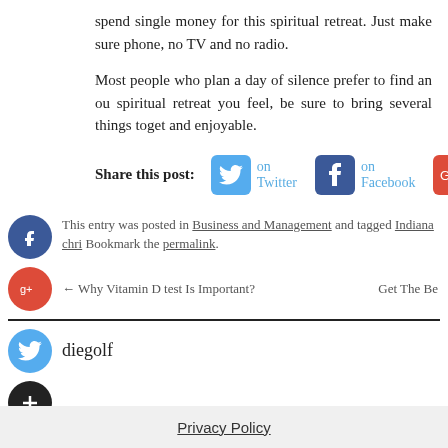spend single money for this spiritual retreat. Just make sure phone, no TV and no radio.
Most people who plan a day of silence prefer to find an ou spiritual retreat you feel, be sure to bring several things toget and enjoyable.
Share this post: on Twitter on Facebook
This entry was posted in Business and Management and tagged Indiana chri Bookmark the permalink.
← Why Vitamin D test Is Important?   Get The Be
diegolf
Privacy Policy